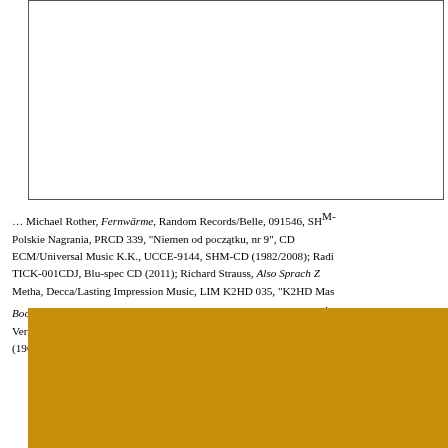[Figure (other): White rectangular box with border, top portion of page]
... Michael Rother, Fernwärme, Random Records/Belle, 091546, SHM-... Polskie Nagrania, PRCD 339, “Niemen od początku, nr 9”, CD ... ECM/Universal Music K.K., UCCE-9144, SHM-CD (1982/2008); Radi... TICK-001CDJ, Blu-spec CD (2011); Richard Strauss, Also Sprach Z... Metha, Decca/Lasting Impression Music, LIM K2HD 035, “K2HD Mas... Bookends, Columbia/Sony Music Japan, SICP-1484, CD (1968/2007)... Verve/Lasting Impression Music, LIM K2HD 032 UDC, “Direct Fro... (1964/2009).
[Figure (other): Gold/dark yellow rectangular block at bottom of page]